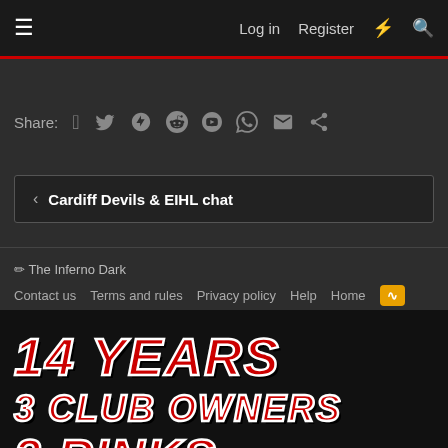≡  Log in  Register  ⚡  🔍
Share: f  t  reddit  p  tumblr  whatsapp  mail  link
‹  Cardiff Devils & EIHL chat
✏ The Inferno Dark  Contact us  Terms and rules  Privacy policy  Help  Home  RSS
[Figure (illustration): Stylized bold italic text on dark background reading: 14 YEARS / 3 CLUB OWNERS / 2 RINKS / STILL HERE / STILL — in red with white outline, grunge/hockey style font]